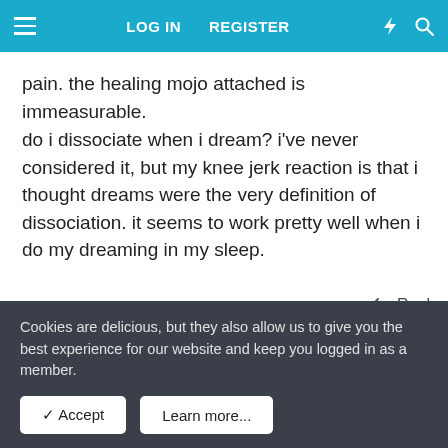LOG IN  REGISTER
pain. the healing mojo attached is immeasurable.

do i dissociate when i dream? i've never considered it, but my knee jerk reaction is that i thought dreams were the very definition of dissociation. it seems to work pretty well when i do my dreaming in my sleep.
Reply
[Figure (screenshot): Rich text editor toolbar with bold (B), italic (I), paragraph, emoji, link, image, and other formatting icons, with an undo button and additional controls.]
Write your reply...
Cookies are delicious, but they also allow us to give you the best experience for our website and keep you logged in as a member.
✓ Accept    Learn more...